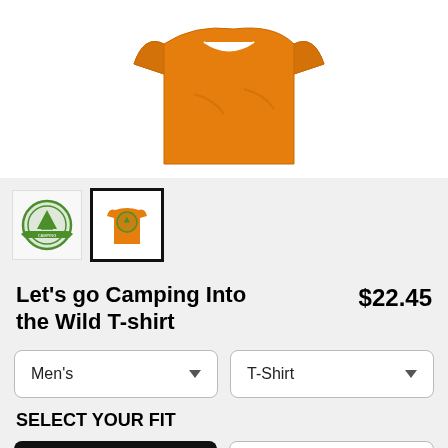[Figure (photo): Orange t-shirt product photo on white background, folded/draped view]
[Figure (photo): Two product thumbnails: a green circular camping logo badge, and the orange t-shirt with the camping logo printed on it (selected/active thumbnail with bold black border)]
Let's go Camping Into the Wild T-shirt
$22.45
Men's
T-Shirt
SELECT YOUR FIT
$22.45
Regular
$27.95
Extra Soft